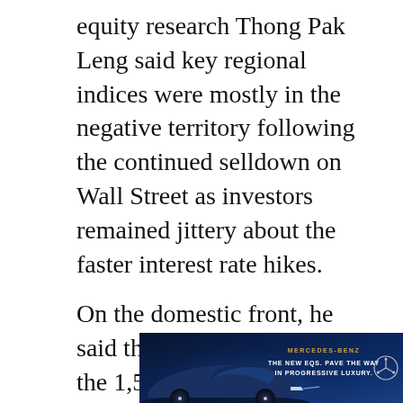equity research Thong Pak Leng said key regional indices were mostly in the negative territory following the continued selldown on Wall Street as investors remained jittery about the faster interest rate hikes.
On the domestic front, he said the KLCI has breached the 1,540 support level, hence the local market may experience some headwinds amidst heightening regional volatility.
"However, we believe that this provides buying opportunities, given the cheap
[Figure (photo): Mercedes-Benz advertisement banner showing a dark blue luxury electric vehicle (EQ series) with text 'THE NEW EQS. PAVE THE WAY IN PROGRESSIVE LUXURY.' and the Mercedes-Benz logo]